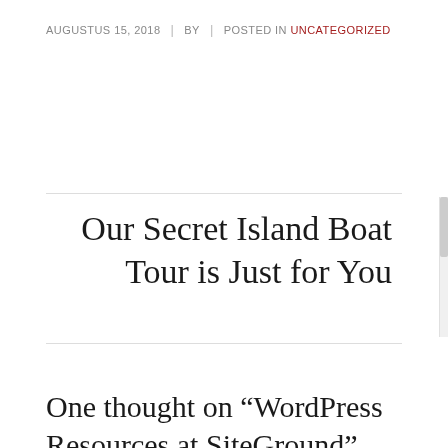AUGUSTUS 15, 2018 | BY | POSTED IN UNCATEGORIZED
Our Secret Island Boat Tour is Just for You
One thought on “WordPress Resources at SiteGround”